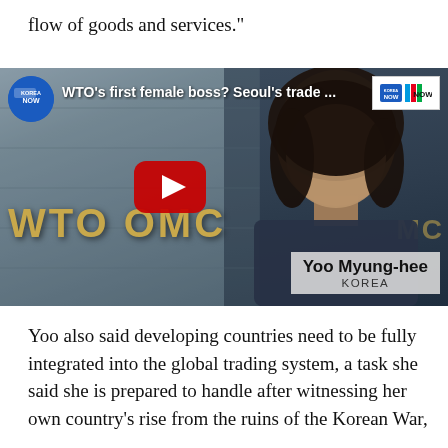flow of goods and services."
[Figure (screenshot): YouTube video thumbnail showing WTO OMC building signage on the left half and a Korean woman (Yoo Myung-hee) on the right half. The video title reads 'WTO's first female boss? Seoul's trade ...' with Korea NOW branding. A red YouTube play button is centered. A name plate at bottom right reads 'Yoo Myung-hee / KOREA'.]
Yoo also said developing countries need to be fully integrated into the global trading system, a task she said she is prepared to handle after witnessing her own country's rise from the ruins of the Korean War,